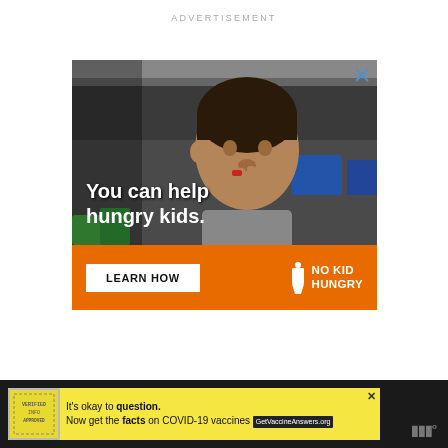ADVERTISEMENT
[Figure (photo): No Kid Hungry advertisement featuring a young boy eating in a classroom setting. Top photo section shows the child with text overlay 'You can help hungry kids.' Bottom orange section has a 'LEARN HOW' button and the No Kid Hungry logo.]
[Figure (photo): Bottom banner advertisement: Yellow background ad for GetVaccineAnswers.org with text 'It's okay to question. Now get the facts on COVID-19 vaccines' with a stamp graphic on the left. Dark background with W logo on the right.]